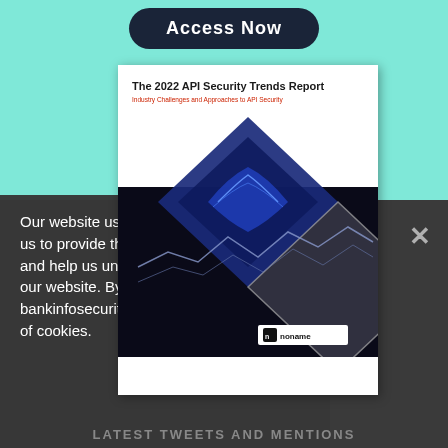[Figure (screenshot): Website screenshot showing a teal background with an 'Access Now' dark button at the top, a white report card for 'The 2022 API Security Trends Report' with a diamond-shaped graphic overlay containing blue data visualizations and stock chart imagery, a cookie consent overlay on the left, a close (x) button on the right, and a 'LATEST TWEETS AND MENTIONS' footer text at the bottom.]
Our website uses cookies. Cookies enable us to provide the best experience possible and help us understand how visitors use our website. By browsing bankinfosecurity.com, you agree to our use of cookies.
LATEST TWEETS AND MENTIONS